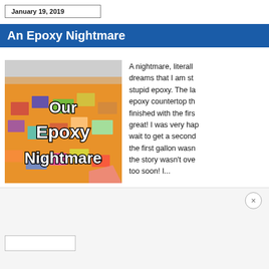January 19, 2019
An Epoxy Nightmare
[Figure (photo): Orange epoxy countertop covered with magazine clippings, with overlay text reading 'Our Epoxy Nightmare' in bold white letters with black outline]
A nightmare, literally. I dreams that I am st stupid epoxy. The la epoxy countertop th finished with the firs great! I was very hap wait to get a second the first gallon wasn the story wasn't ove too soon! I...